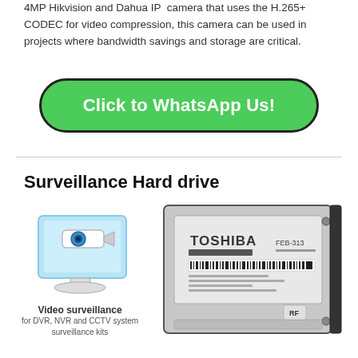4MP Hikvision and Dahua IP camera that uses the H.265+ CODEC for video compression, this camera can be used in projects where bandwidth savings and storage are critical.
[Figure (other): Green rounded button reading 'Click to WhatsApp Us!']
Surveillance Hard drive
[Figure (illustration): Video surveillance icon: monitor with camera on top, blue background. Caption: 'Video surveillance for DVR, NVR and CCTV system surveillance kits']
[Figure (photo): Toshiba 3.5-inch hard drive (HDD) photo showing the top label with TOSHIBA branding and model number FEB-313]